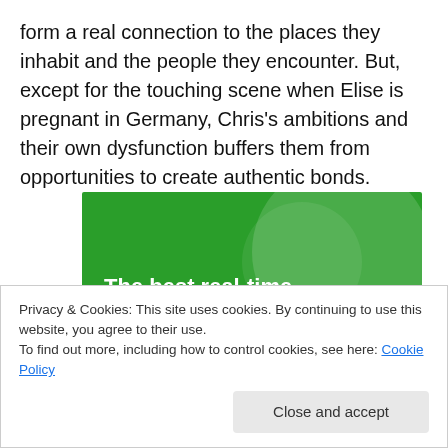form a real connection to the places they inhabit and the people they encounter. But, except for the touching scene when Elise is pregnant in Germany, Chris's ambitions and their own dysfunction buffers them from opportunities to create authentic bonds.
[Figure (illustration): Green advertisement banner reading 'The best real-time WordPress backup plugin' with decorative green circle shapes in background]
Privacy & Cookies: This site uses cookies. By continuing to use this website, you agree to their use.
To find out more, including how to control cookies, see here: Cookie Policy